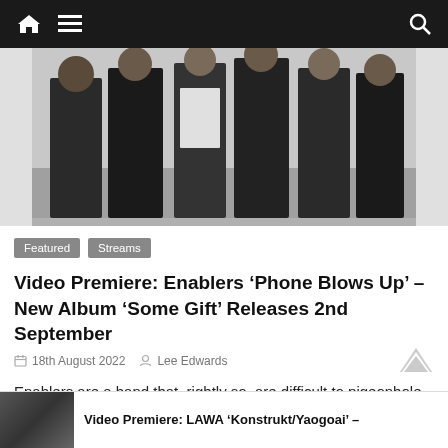Navigation bar with home, menu, and search icons
[Figure (photo): Band photo showing five people in dark clothing standing together against a light wall]
Featured   Streams
Video Premiere: Enablers ‘Phone Blows Up’ – New Album ‘Some Gift’ Releases 2nd September
18th August 2022   Lee Edwards
Enablers are a band that, rightly so, are difficult to pigeonhole. Fronted by the enigma that is poet and lyricist
Video Premiere: LAWA ‘Konstrukt/Yaogoai’ –